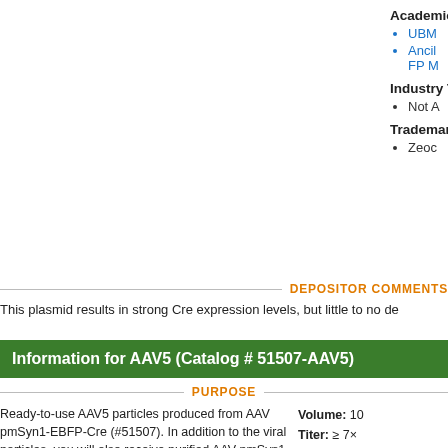Academic/
UBM
Ancil FP M
Industry Te
Not A
Trademark
Zeoc
DEPOSITOR COMMENTS
This plasmid results in strong Cre expression levels, but little to no de
Information for AAV5 (Catalog # 51507-AAV5)
PURPOSE
Ready-to-use AAV5 particles produced from AAV pmSyn1-EBFP-Cre (#51507). In addition to the viral particles, you will also receive purified AAV pmSyn1-EBFP-Cre plasmid DNA.
Volume: 10
Titer: ≥ 7×
Pricing: $3 + $30 USD